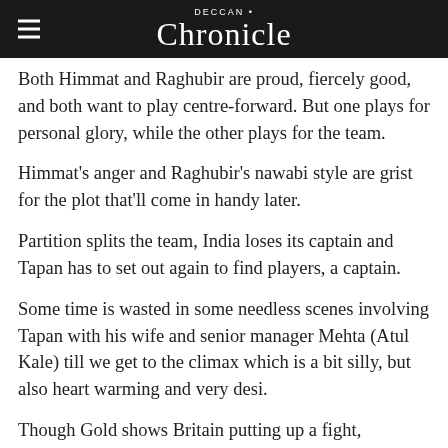DECCAN Chronicle
Both Himmat and Raghubir are proud, fiercely good, and both want to play centre-forward. But one plays for personal glory, while the other plays for the team.
Himmat's anger and Raghubir's nawabi style are grist for the plot that'll come in handy later.
Partition splits the team, India loses its captain and Tapan has to set out again to find players, a captain.
Some time is wasted in some needless scenes involving Tapan with his wife and senior manager Mehta (Atul Kale) till we get to the climax which is a bit silly, but also heart warming and very desi.
Though Gold shows Britain putting up a fight, Independent India's first Olympic gold against their colonisors in London was satisfyingly decisive. 4-0